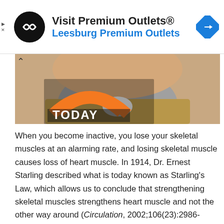[Figure (advertisement): Ad banner for 'Visit Premium Outlets® Leesburg Premium Outlets' with circular black logo with infinity/arrow symbol and a blue diamond navigation icon on the right.]
[Figure (photo): Photo of a bearded man with the TODAY show logo overlay in orange and white, partially visible from chin to chest area.]
When you become inactive, you lose your skeletal muscles at an alarming rate, and losing skeletal muscle causes loss of heart muscle. In 1914, Dr. Ernest Starling described what is today known as Starling's Law, which allows us to conclude that strengthening skeletal muscles strengthens heart muscle and not the other way around (Circulation, 2002;106(23):2986-2992). When you contract your skeletal muscles, they squeeze the veins near them to pump extra blood back to your heart. The extra blood flowing back to your heart fills up your heart,